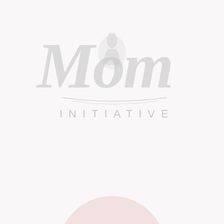[Figure (logo): The Mom Initiative logo — large stylized cursive 'Mom' text with a praying hands icon, and 'INITIATIVE' in spaced capital letters below, all in light gray/silver tones]
[Figure (logo): BibleGateway Blogger Grid Member circular badge — pink/blush circle with a headphone icon and text 'BibleGateway Blogger Grid Member' in white]